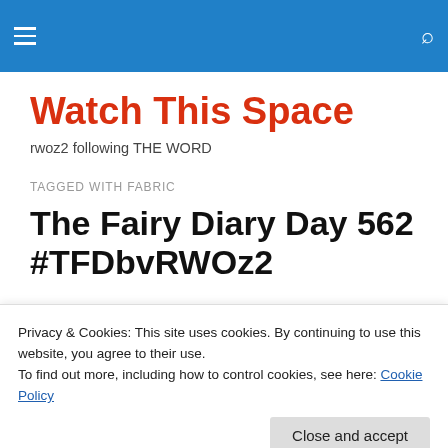Watch This Space — navigation header bar
Watch This Space
rwoz2 following THE WORD
TAGGED WITH FABRIC
The Fairy Diary Day 562 #TFDbvRWOz2
Privacy & Cookies: This site uses cookies. By continuing to use this website, you agree to their use.
To find out more, including how to control cookies, see here: Cookie Policy
learned then were put to good use here.